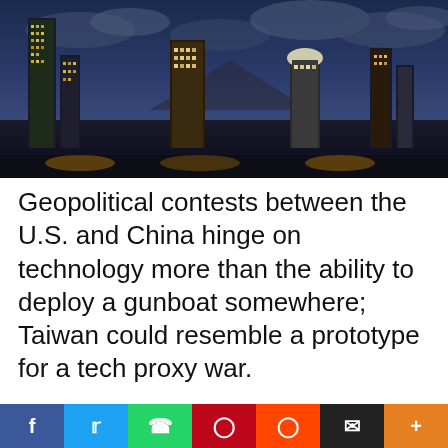[Figure (photo): Nighttime city skyline photo, likely Taipei, showing tall skyscrapers lit up against a cloudy dusk sky, with mountains in the background.]
Geopolitical contests between the U.S. and China hinge on technology more than the ability to deploy a gunboat somewhere; Taiwan could resemble a prototype for a tech proxy war.
The media likes to dabble in war game fantasies
[Figure (other): Social media share bar with buttons for Facebook, Twitter, WhatsApp, Pinterest, Reddit, Email, and a plus/more button.]